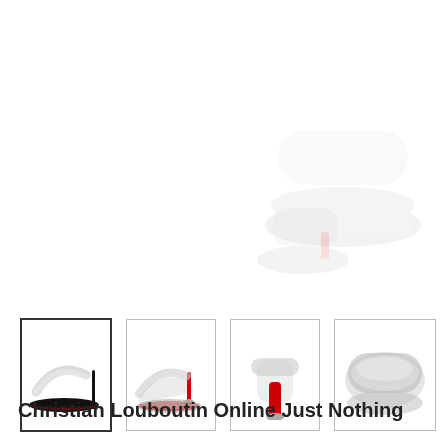[Figure (photo): Product thumbnails of Christian Louboutin Just Nothing clear heel mule shoes shown from multiple angles: side view with black sole (selected/framed), diagonal view, back view showing red sole heel, and front/top view. A large faded ghost image of the shoe from the front angle appears in the upper right background area.]
Christian Louboutin Online Just Nothing